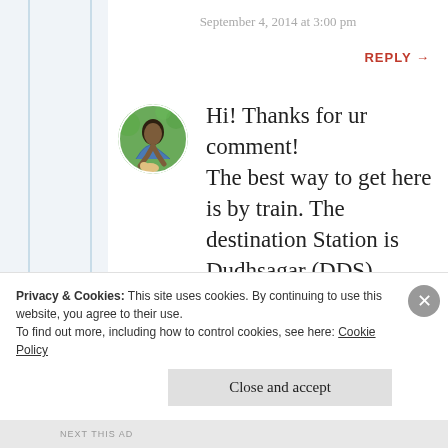September 4, 2014 at 3:00 pm
REPLY →
[Figure (photo): Circular avatar photo of a person leaning over, outdoors with green background]
Hi! Thanks for ur comment! The best way to get here is by train. The destination Station is Dudhsagar (DDS)
Privacy & Cookies: This site uses cookies. By continuing to use this website, you agree to their use.
To find out more, including how to control cookies, see here: Cookie Policy
Close and accept